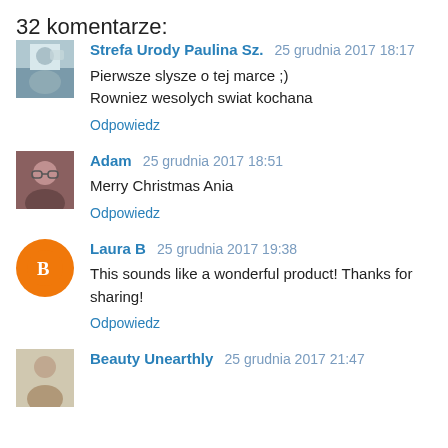32 komentarze:
Strefa Urody Paulina Sz. 25 grudnia 2017 18:17
Pierwsze slysze o tej marce ;)
Rowniez wesolych swiat kochana
Odpowiedz
Adam 25 grudnia 2017 18:51
Merry Christmas Ania
Odpowiedz
Laura B 25 grudnia 2017 19:38
This sounds like a wonderful product! Thanks for sharing!
Odpowiedz
Beauty Unearthly 25 grudnia 2017 21:47